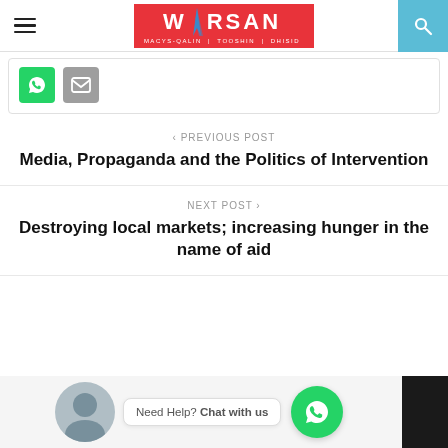WARSAN — MACYS-QALIN | TOOSHIN | DHISID
[Figure (infographic): Green WhatsApp share button and grey email share button]
< PREVIOUS POST
Media, Propaganda and the Politics of Intervention
NEXT POST >
Destroying local markets; increasing hunger in the name of aid
[Figure (infographic): WhatsApp chat widget with avatar, 'Need Help? Chat with us' bubble, and green WhatsApp button]